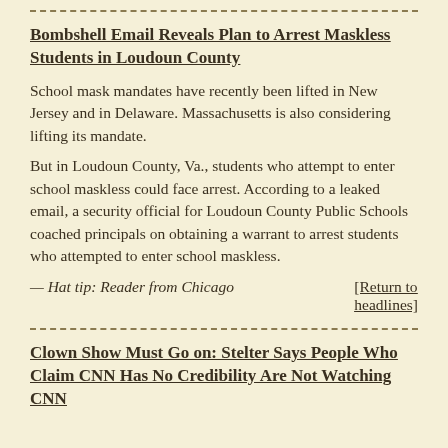Bombshell Email Reveals Plan to Arrest Maskless Students in Loudoun County
School mask mandates have recently been lifted in New Jersey and in Delaware. Massachusetts is also considering lifting its mandate.
But in Loudoun County, Va., students who attempt to enter school maskless could face arrest. According to a leaked email, a security official for Loudoun County Public Schools coached principals on obtaining a warrant to arrest students who attempted to enter school maskless.
— Hat tip: Reader from Chicago
[Return to headlines]
Clown Show Must Go on: Stelter Says People Who Claim CNN Has No Credibility Are Not Watching CNN